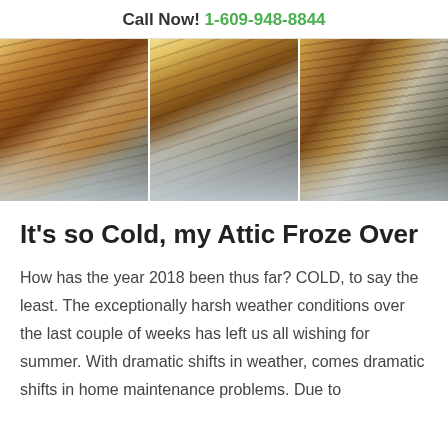Call Now! 1-609-948-8844
[Figure (photo): Three side-by-side photos of a frozen attic showing wood rafters/beams covered in frost and ice, with a dark plastic vapor barrier visible at the bottom]
It's so Cold, my Attic Froze Over
How has the year 2018 been thus far? COLD, to say the least. The exceptionally harsh weather conditions over the last couple of weeks has left us all wishing for summer. With dramatic shifts in weather, comes dramatic shifts in home maintenance problems. Due to